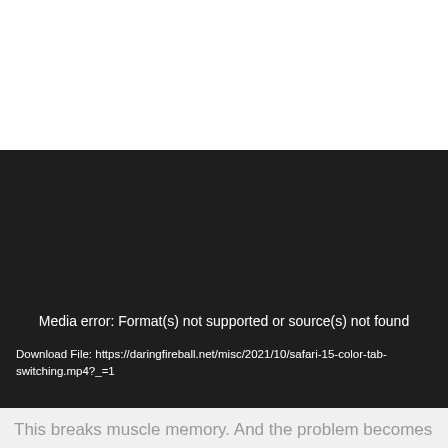[Figure (screenshot): Black video player panel showing a media error message. The error reads: 'Media error: Format(s) not supported or source(s) not found' with a download link below: 'Download File: https://daringfireball.net/misc/2021/10/safari-15-color-tab-switching.mp4?_=1']
This breaks muscle memory. And the problem becomes worse when the inverted tab shading